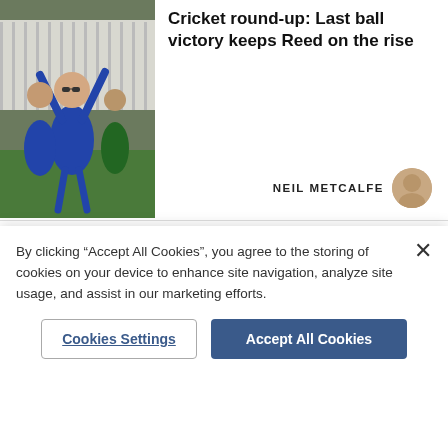[Figure (photo): Two cricket players in blue uniforms celebrating, one with raised arms wearing sunglasses, another behind him, with a green-uniformed player in background near a white fence]
Cricket round-up: Last ball victory keeps Reed on the rise
NEIL METCALFE
[Figure (photo): Circular avatar photo of Neil Metcalfe, a man with short hair]
Newsletters | About Us | Contact Us | Advertise With Us | All Topics | Complaints | Jobs at Archant | Contributors Charter | Cookie Policy | Privacy Policy | Terms & Conditions | Advertise | Manage Cookies
By clicking "Accept All Cookies", you agree to the storing of cookies on your device to enhance site navigation, analyze site usage, and assist in our marketing efforts.